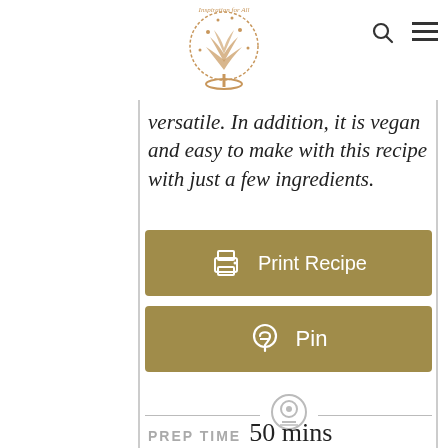Inspiration for All [logo with tree]
versatile. In addition, it is vegan and easy to make with this recipe with just a few ingredients.
[Figure (other): Golden button labeled 'Print Recipe' with printer icon]
[Figure (other): Golden button labeled 'Pin' with Pinterest icon]
[Figure (other): Circular clock/timer icon between two horizontal lines]
PREP TIME 50 mins
[Figure (other): Advertisement banner: Back To School Shopping Deals - Leesburg Premium Outlets]